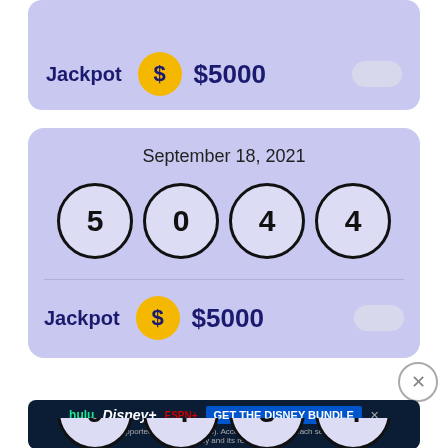[Figure (infographic): Partial lottery result card showing Jackpot label with gold dollar circle and $5000 amount]
[Figure (infographic): Lottery result card for September 18, 2021 showing winning numbers 5, 0, 4, 4 in circles, with Jackpot of $5000]
[Figure (infographic): Advertisement banner for Disney Bundle featuring Hulu, Disney+, ESPN+ logos with call to action GET THE DISNEY BUNDLE]
[Figure (infographic): Partial lottery result card showing numbers 9, 4, 3, 4 in circles at bottom of page]